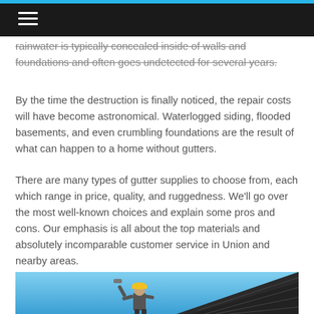☰
rainwater is typically concealed inside of walls and foundations and often goes undetected for several years.
By the time the destruction is finally noticed, the repair costs will have become astronomical. Waterlogged siding, flooded basements, and even crumbling foundations are the result of what can happen to a home without gutters.
There are many types of gutter supplies to choose from, each which range in price, quality, and ruggedness. We'll go over the most well-known choices and explain some pros and cons. Our emphasis is all about the top materials and absolutely incomparable customer service in Union and nearby areas.
[Figure (photo): A worker in a yellow hard hat working on a roof with dark shingles against a blue sky background.]